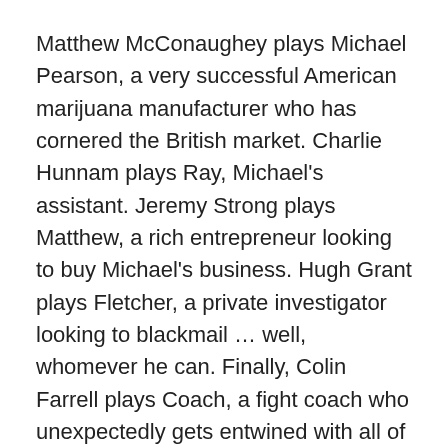Matthew McConaughey plays Michael Pearson, a very successful American marijuana manufacturer who has cornered the British market. Charlie Hunnam plays Ray, Michael's assistant. Jeremy Strong plays Matthew, a rich entrepreneur looking to buy Michael's business. Hugh Grant plays Fletcher, a private investigator looking to blackmail … well, whomever he can. Finally, Colin Farrell plays Coach, a fight coach who unexpectedly gets entwined with all of these people.
As you can imagine, there is a great deal of violence, tons of twists, more than a few moments of treachery, and plenty of inappropriate humor. The movie looks great, as all Guy Ritchie movies do, with incredible set pieces, costumes, and locations.
The problem of the movie is that it has too many twists and